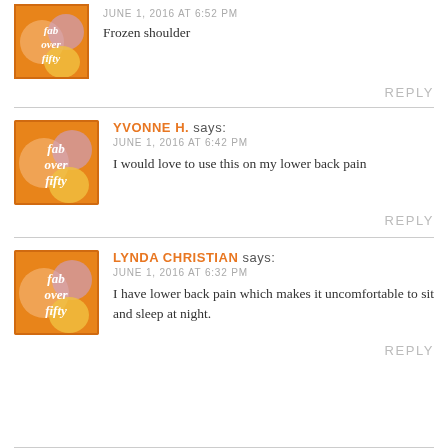[Figure (logo): Fab Over Fifty logo avatar - orange/yellow/pink square with white italic text 'fab over fifty']
Frozen shoulder
REPLY
YVONNE H. says:
JUNE 1, 2016 AT 6:42 PM
[Figure (logo): Fab Over Fifty logo avatar]
I would love to use this on my lower back pain
REPLY
LYNDA CHRISTIAN says:
JUNE 1, 2016 AT 6:32 PM
[Figure (logo): Fab Over Fifty logo avatar]
I have lower back pain which makes it uncomfortable to sit and sleep at night.
REPLY